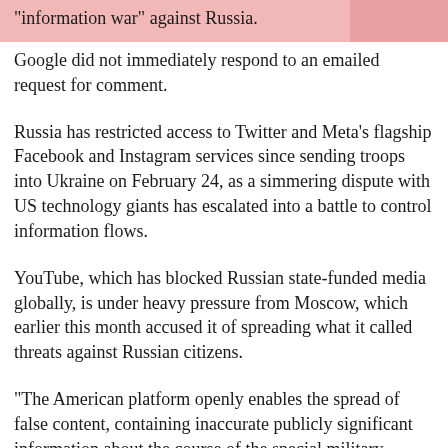"information war" against Russia.
Google did not immediately respond to an emailed request for comment.
Russia has restricted access to Twitter and Meta's flagship Facebook and Instagram services since sending troops into Ukraine on February 24, as a simmering dispute with US technology giants has escalated into a battle to control information flows.
YouTube, which has blocked Russian state-funded media globally, is under heavy pressure from Moscow, which earlier this month accused it of spreading what it called threats against Russian citizens.
"The American platform openly enables the spread of false content, containing inaccurate publicly significant information about the course of the special military operation in Ukraine,